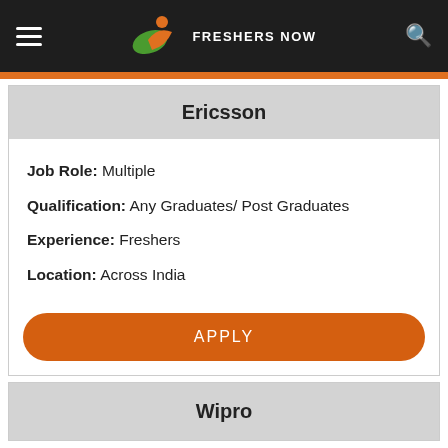FRESHERS NOW
Ericsson
Job Role: Multiple
Qualification: Any Graduates/ Post Graduates
Experience: Freshers
Location: Across India
APPLY
Wipro